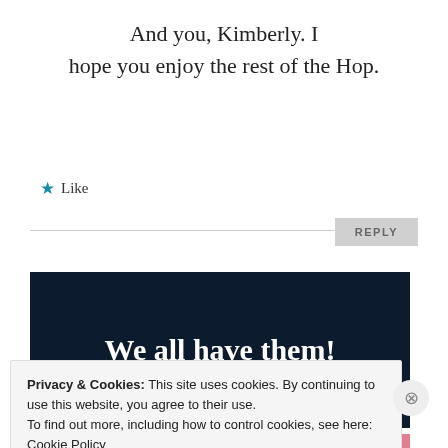And you, Kimberly. I hope you enjoy the rest of the Hop.
★ Like
REPLY
[Figure (illustration): Dark navy banner with bold white text reading 'We all have them!' with a red/blue stripe at the bottom and a white circle partially visible at the lower right.]
Privacy & Cookies: This site uses cookies. By continuing to use this website, you agree to their use.
To find out more, including how to control cookies, see here: Cookie Policy
Close and accept